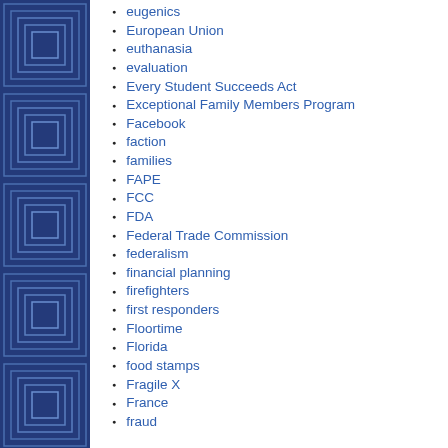eugenics
European Union
euthanasia
evaluation
Every Student Succeeds Act
Exceptional Family Members Program
Facebook
faction
families
FAPE
FCC
FDA
Federal Trade Commission
federalism
financial planning
firefighters
first responders
Floortime
Florida
food stamps
Fragile X
France
fraud